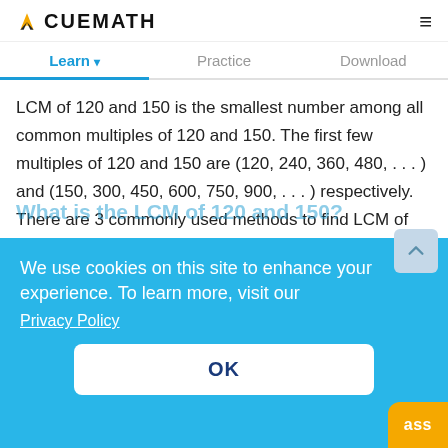CUEMATH
Learn   Practice   Download
LCM of 120 and 150 is the smallest number among all common multiples of 120 and 150. The first few multiples of 120 and 150 are (120, 240, 360, 480, . . . ) and (150, 300, 450, 600, 750, 900, . . . ) respectively. There are 3 commonly used methods to find LCM of 120 and 150, by prime factorization, by listing...
We use cookies on this site to enhance your experience. To learn more, visit our
Privacy Policy
What is the LCM of 120 and 150?
OK